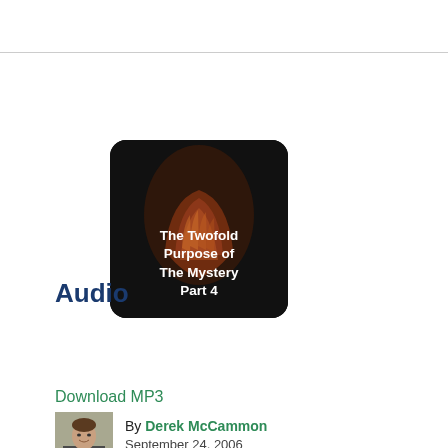[Figure (illustration): Album art for 'The Twofold Purpose of The Mystery Part 4' — dark background with orange/brown praying hands image, white bold text overlay]
Audio
[Figure (other): Audio player UI with play button, time display '0:00 / 48:16', progress bar, volume icon, and more options icon]
Download MP3
[Figure (photo): Headshot of Derek McCammon, a man in a suit]
By Derek McCammon
September 24, 2006